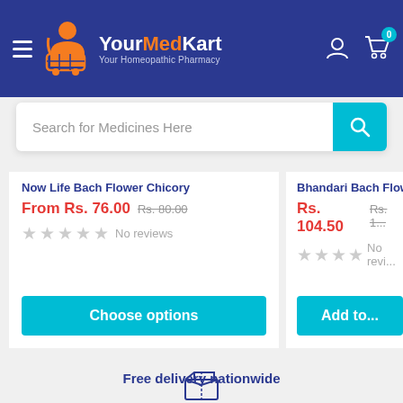[Figure (logo): YourMedKart logo with shopping cart icon and text 'Your Homeopathic Pharmacy']
Search for Medicines Here
Now Life Bach Flower Chicory
From Rs. 76.00  Rs. 80.00
No reviews
Choose options
Bhandari Bach Flow...
Rs. 104.50  Rs. 1...
No revi...
Add to...
[Figure (illustration): Box/package delivery icon (outline style, dark blue)]
Free delivery nationwide